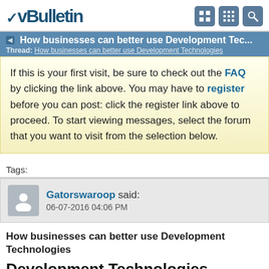vBulletin
How businesses can better use Development Tec...
Thread: How businesses can better use Development Technologies
If this is your first visit, be sure to check out the FAQ by clicking the link above. You may have to register before you can post: click the register link above to proceed. To start viewing messages, select the forum that you want to visit from the selection below.
Tags:
Gatorswaroop said:
06-07-2016 04:06 PM
How businesses can better use Development Technologies
Development Technologies